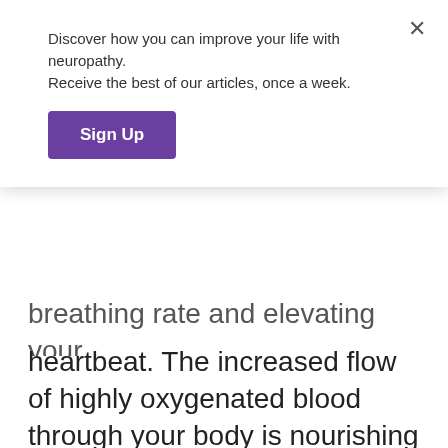Discover how you can improve your life with neuropathy. Receive the best of our articles, once a week.
Sign Up
breathing rate and elevating your heartbeat. The increased flow of highly oxygenated blood through your body is nourishing to your nerves, encouraging their healing and feeding them the nutrients they need.
Vibration therapy accomplishes both of these by sending vibrations through the entire body by use of a vibration platform. These vibrations then stimulate...